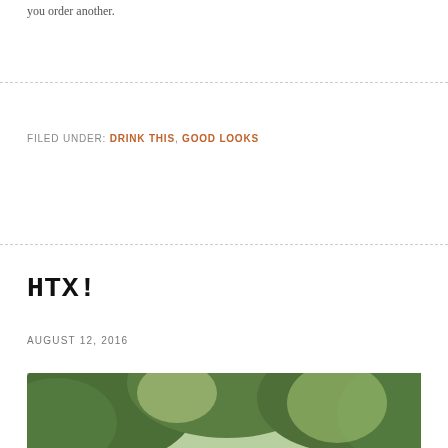you order another.
FILED UNDER: DRINK THIS, GOOD LOOKS
HTX!
AUGUST 12, 2016
[Figure (photo): Two people smiling outdoors, both wearing navy and orange HTX snapback caps, standing in front of green trees]